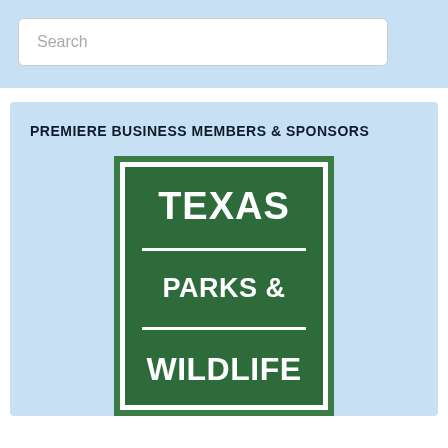Search
PREMIERE BUSINESS MEMBERS & SPONSORS
[Figure (logo): Texas Parks & Wildlife logo — green rectangular sign with white text reading TEXAS / PARKS & / WILDLIFE, separated by white horizontal lines, with white and green border]